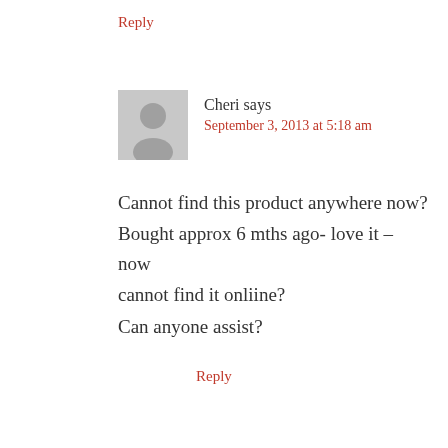Reply
Cheri says
September 3, 2013 at 5:18 am
Cannot find this product anywhere now? Bought approx 6 mths ago- love it – now cannot find it onliine?
Can anyone assist?
Reply